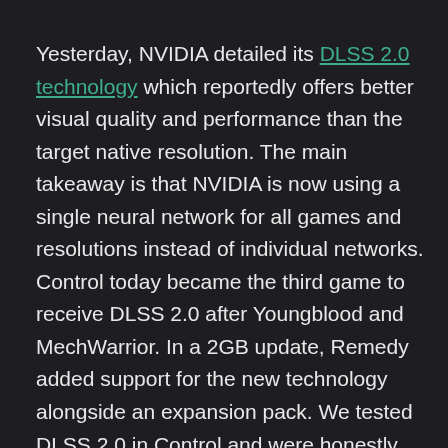Yesterday, NVIDIA detailed its DLSS 2.0 technology which reportedly offers better visual quality and performance than the target native resolution. The main takeaway is that NVIDIA is now using a single neural network for all games and resolutions instead of individual networks. Control today became the third game to receive DLSS 2.0 after Youngblood and MechWarrior. In a 2GB update, Remedy added support for the new technology alongside an expansion pack. We tested DLSS 2.0 in Control and were honestly quite impressed. It actually does look better than the native resolution!
Have a look: